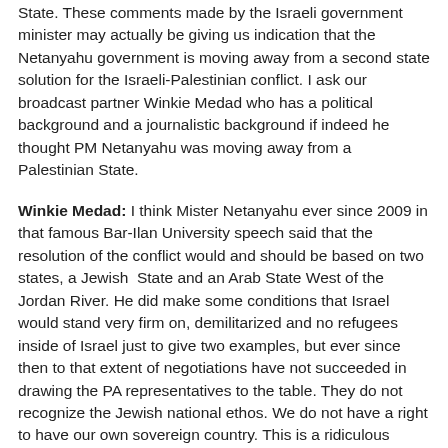State. These comments made by the Israeli government minister may actually be giving us indication that the Netanyahu government is moving away from a second state solution for the Israeli-Palestinian conflict. I ask our broadcast partner Winkie Medad who has a political background and a journalistic background if indeed he thought PM Netanyahu was moving away from a Palestinian State.
Winkie Medad: I think Mister Netanyahu ever since 2009 in that famous Bar-Ilan University speech said that the resolution of the conflict would and should be based on two states, a Jewish State and an Arab State West of the Jordan River. He did make some conditions that Israel would stand very firm on, demilitarized and no refugees inside of Israel just to give two examples, but ever since then to that extent of negotiations have not succeeded in drawing the PA representatives to the table. They do not recognize the Jewish national ethos. We do not have a right to have our own sovereign country. This is a ridiculous situation that people would believe that Israel and the Arabs at the present moment would be able to negotiate peace.